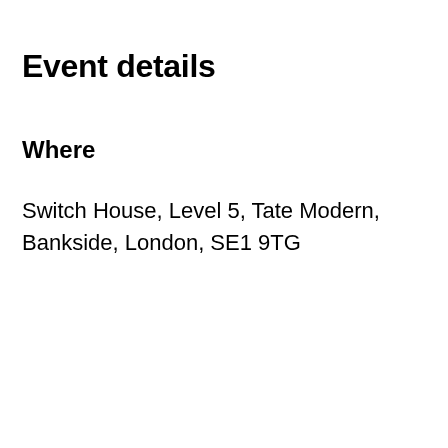Event details
Where
Switch House, Level 5, Tate Modern, Bankside, London, SE1 9TG